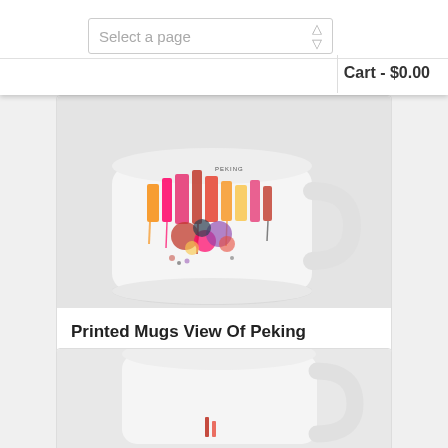Select a page | Cart - $0.00
[Figure (photo): White ceramic mug with colorful watercolor cityscape/skyline art print showing abstract buildings in pink, orange, red, and yellow with dripping paint effect — Printed Mugs View Of Peking]
Printed Mugs View Of Peking
$14.40–$15.00
[Figure (photo): White ceramic mug with a small red design visible at the bottom — partially shown product listing]